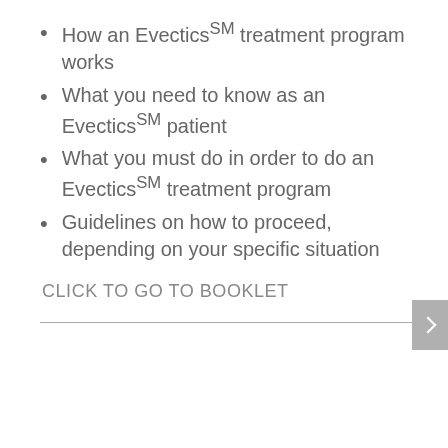How an Evectics℠ treatment program works
What you need to know as an Evectics℠ patient
What you must do in order to do an Evectics℠ treatment program
Guidelines on how to proceed, depending on your specific situation
CLICK TO GO TO BOOKLET